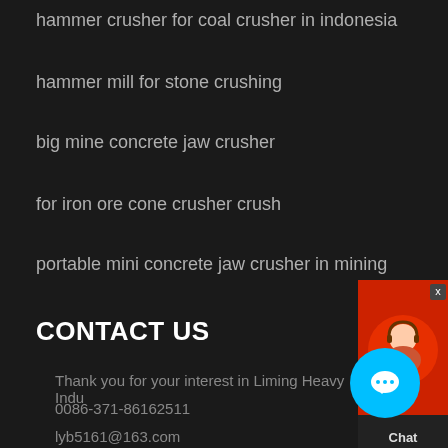hammer crusher for coal crusher in indonesia
hammer mill for stone crushing
big mine concrete jaw crusher
for iron ore cone crusher crush
portable mini concrete jaw crusher in mining
CONTACT US
Thank you for your interest in Liming Heavy Indu...
0086-371-86162511
lyb5161@163.com
[Figure (other): Live chat widget with customer service avatar and Chat Now button, and cyan chat bubble icon]